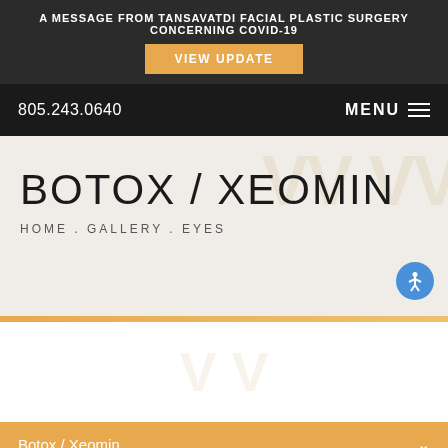A MESSAGE FROM TANSAVATDI FACIAL PLASTIC SURGERY CONCERNING COVID-19
VIEW UPDATE
805.243.0640  MENU
BOTOX / XEOMIN
HOME . GALLERY . EYES
Botox / Xeomin
<< BACK TO GALLERY
CONTACT US  805.243.0640